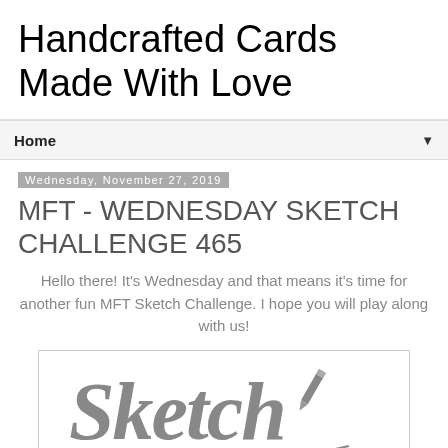Handcrafted Cards Made With Love
Home
Wednesday, November 27, 2019
MFT - WEDNESDAY SKETCH CHALLENGE 465
Hello there! It's Wednesday and that means it's time for another fun MFT Sketch Challenge. I hope you will play along with us!
[Figure (illustration): Gray 'Sketch' cursive logo text with a pencil illustration and a curved line beneath it]